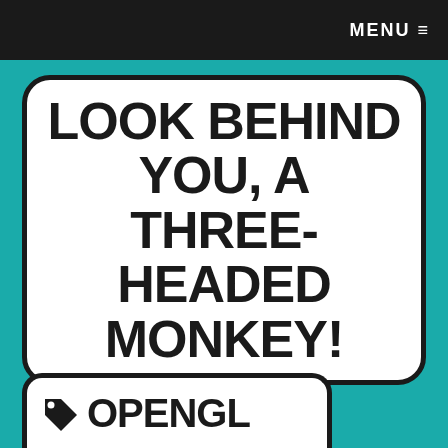MENU ≡
LOOK BEHIND YOU, A THREE-HEADED MONKEY!
OPENGL